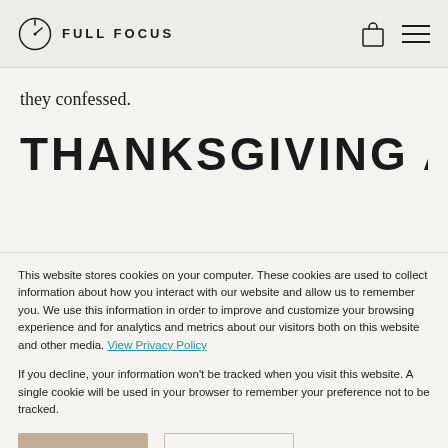FULL FOCUS
they confessed.
THANKSGIVING AND
This website stores cookies on your computer. These cookies are used to collect information about how you interact with our website and allow us to remember you. We use this information in order to improve and customize your browsing experience and for analytics and metrics about our visitors both on this website and other media. View Privacy Policy
If you decline, your information won’t be tracked when you visit this website. A single cookie will be used in your browser to remember your preference not to be tracked.